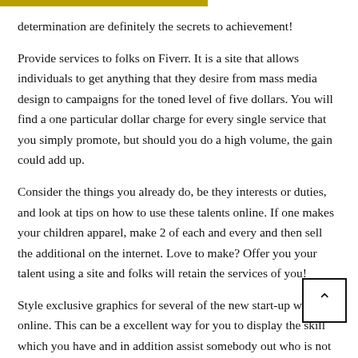determination are definitely the secrets to achievement!
Provide services to folks on Fiverr. It is a site that allows individuals to get anything that they desire from mass media design to campaigns for the toned level of five dollars. You will find a one particular dollar charge for every single service that you simply promote, but should you do a high volume, the gain could add up.
Consider the things you already do, be they interests or duties, and look at tips on how to use these talents online. If one makes your children apparel, make 2 of each and every and then sell the additional on the internet. Love to make? Offer you your talent using a site and folks will retain the services of you!
Style exclusive graphics for several of the new start-up web sites online. This can be a excellent way for you to display the skill which you have and in addition assist somebody out who is not creatively qualified. Work cost with the customer in advance before you offer your assistance.